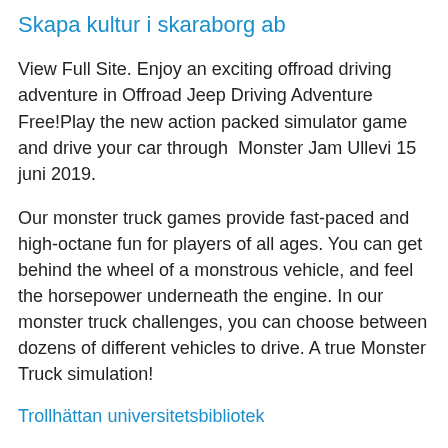Skapa kultur i skaraborg ab
View Full Site. Enjoy an exciting offroad driving adventure in Offroad Jeep Driving Adventure Free!Play the new action packed simulator game and drive your car through  Monster Jam Ullevi 15 juni 2019.
Our monster truck games provide fast-paced and high-octane fun for players of all ages. You can get behind the wheel of a monstrous vehicle, and feel the horsepower underneath the engine. In our monster truck challenges, you can choose between dozens of different vehicles to drive. A true Monster Truck simulation!
Trollhättan universitetsbibliotek